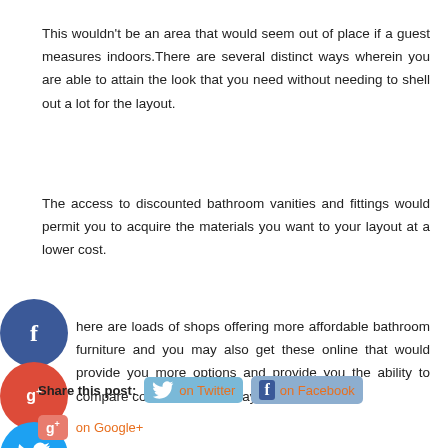This wouldn't be an area that would seem out of place if a guest measures indoors.There are several distinct ways wherein you are able to attain the look that you need without needing to shell out a lot for the layout.
The access to discounted bathroom vanities and fittings would permit you to acquire the materials you want to your layout at a lower cost.
There are loads of shops offering more affordable bathroom furniture and you may also get these online that would provide you more options and provide you the ability to compare costs for different layouts.
Share this post: on Twitter on Facebook on Google+